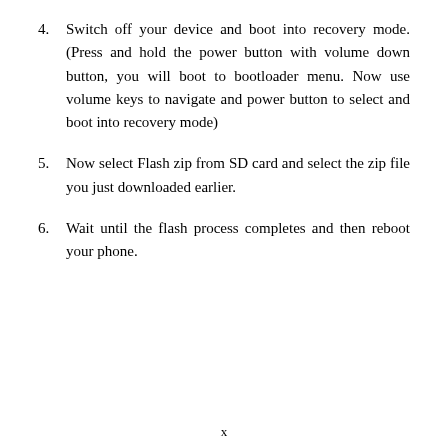4. Switch off your device and boot into recovery mode. (Press and hold the power button with volume down button, you will boot to bootloader menu. Now use volume keys to navigate and power button to select and boot into recovery mode)
5. Now select Flash zip from SD card and select the zip file you just downloaded earlier.
6. Wait until the flash process completes and then reboot your phone.
x